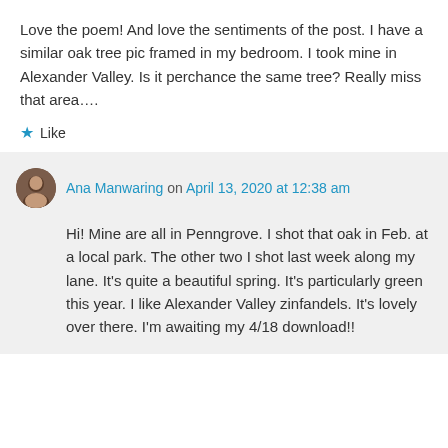Love the poem! And love the sentiments of the post. I have a similar oak tree pic framed in my bedroom. I took mine in Alexander Valley. Is it perchance the same tree? Really miss that area….
Like
Ana Manwaring on April 13, 2020 at 12:38 am
Hi! Mine are all in Penngrove. I shot that oak in Feb. at a local park. The other two I shot last week along my lane. It's quite a beautiful spring. It's particularly green this year. I like Alexander Valley zinfandels. It's lovely over there. I'm awaiting my 4/18 download!!